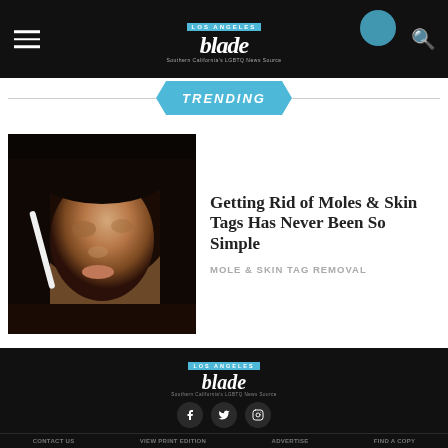Los Angeles Blade — Southern California's LGBTQ News Source
TRENDING
[Figure (photo): Woman applying something near her nose/eye with a white applicator tool, dark hair, close-up portrait]
Getting Rid of Moles & Skin Tags Has Never Been So Simple
MOLE & SKIN TAG REMOVAL
[Figure (logo): Los Angeles Blade logo — Southern California's LGBTQ News Source — white text on black background with blue accent bar]
CONTACT US   VIEW PRINT EDITION   ADVERTISE   FIND A COPY